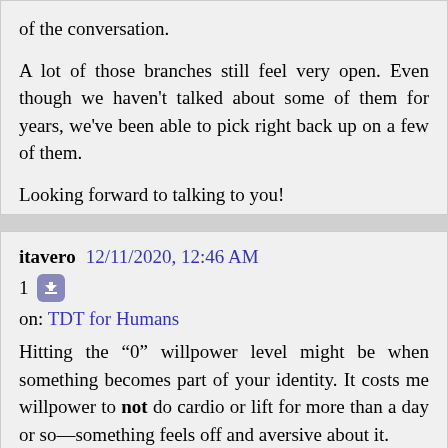of the conversation.

A lot of those branches still feel very open. Even though we haven't talked about some of them for years, we've been able to pick right back up on a few of them.

Looking forward to talking to you!
itavero   12/11/2020, 12:46 AM
1 [vote button]
on: TDT for Humans

Hitting the "0" willpower level might be when something becomes part of your identity. It costs me willpower to not do cardio or lift for more than a day or so—something feels off and aversive about it.